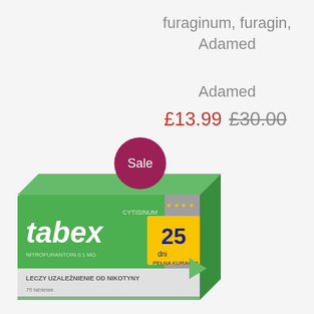furaginum, furagin, Adamed
Adamed
£13.99 £30.00
[Figure (photo): Tabex Cytisinum 25-day treatment medication box with green packaging and a dark red sale badge circle overlay reading 'Sale']